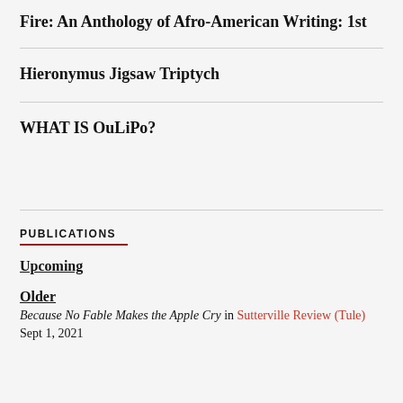Fire: An Anthology of Afro-American Writing: 1st
Hieronymus Jigsaw Triptych
WHAT IS OuLiPo?
PUBLICATIONS
Upcoming
Older
Because No Fable Makes the Apple Cry in Sutterville Review (Tule) Sept 1, 2021